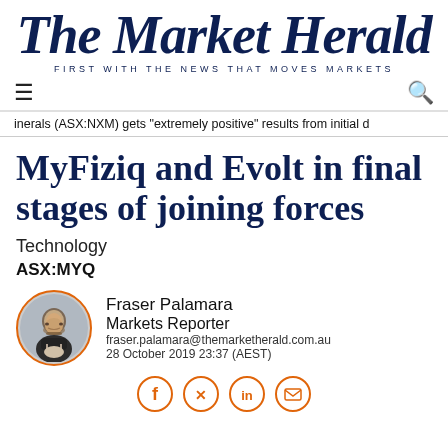The Market Herald — FIRST WITH THE NEWS THAT MOVES MARKETS
≡  🔍
inerals (ASX:NXM) gets "extremely positive" results from initial d
MyFiziq and Evolt in final stages of joining forces
Technology
ASX:MYQ
Fraser Palamara
Markets Reporter
fraser.palamara@themarketherald.com.au
28 October 2019 23:37 (AEST)